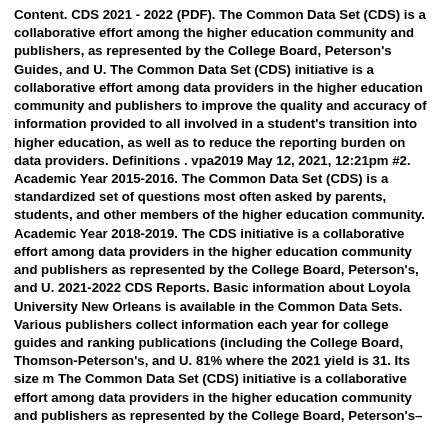Content. CDS 2021 - 2022 (PDF). The Common Data Set (CDS) is a collaborative effort among the higher education community and publishers, as represented by the College Board, Peterson's Guides, and U. The Common Data Set (CDS) initiative is a collaborative effort among data providers in the higher education community and publishers to improve the quality and accuracy of information provided to all involved in a student's transition into higher education, as well as to reduce the reporting burden on data providers. Definitions . vpa2019 May 12, 2021, 12:21pm #2. Academic Year 2015-2016. The Common Data Set (CDS) is a standardized set of questions most often asked by parents, students, and other members of the higher education community. Academic Year 2018-2019. The CDS initiative is a collaborative effort among data providers in the higher education community and publishers as represented by the College Board, Peterson's, and U. 2021-2022 CDS Reports. Basic information about Loyola University New Orleans is available in the Common Data Sets. Various publishers collect information each year for college guides and ranking publications (including the College Board, Thomson-Peterson's, and U. 81% where the 2021 yield is 31. Its size m The Common Data Set (CDS) initiative is a collaborative effort among data providers in the higher education community and publishers as represented by the College Board, Peterson's–